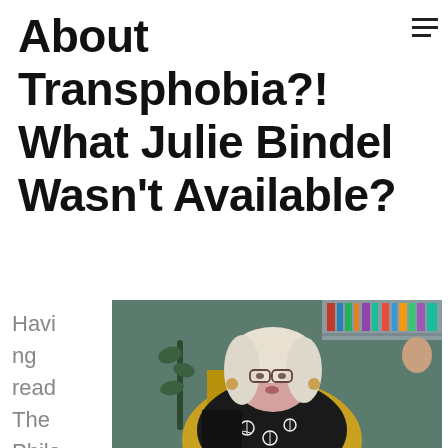About Transphobia?! What Julie Bindel Wasn't Available?
Having read The Philadelphia Gay News
[Figure (photo): A woman with white/blonde hair and glasses, wearing a black jacket with peace sign patterns, sitting in a yellow floral chair. Background shows a teal wall with a bookshelf.]